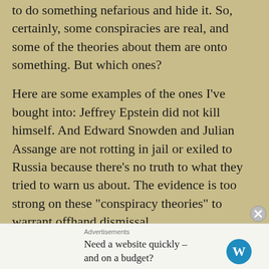to do something nefarious and hide it. So, certainly, some conspiracies are real, and some of the theories about them are onto something. But which ones?
Here are some examples of the ones I've bought into: Jeffrey Epstein did not kill himself. And Edward Snowden and Julian Assange are not rotting in jail or exiled to Russia because there's no truth to what they tried to warn us about. The evidence is too strong on these “conspiracy theories” to warrant offhand dismissal.
When it comes to the present Covid crisis, anyone trying to believe everything “they” tell us (whoever “they” is: “the establishment,” I guess, I
Advertisements
Need a website quickly – and on a budget?